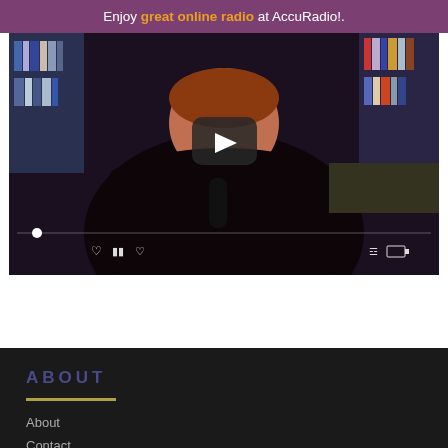Enjoy great online radio at AccuRadio!.
[Figure (screenshot): Video player screenshot showing a woman in front of bookshelves with a play button overlay, progress bar, and media controls at the bottom.]
ABOUT
About
Contact